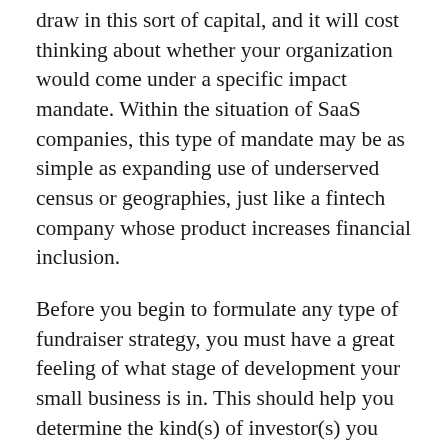draw in this sort of capital, and it will cost thinking about whether your organization would come under a specific impact mandate. Within the situation of SaaS companies, this type of mandate may be as simple as expanding use of underserved census or geographies, just like a fintech company whose product increases financial inclusion.
Before you begin to formulate any type of fundraiser strategy, you must have a great feeling of what stage of development your small business is in. This should help you determine the kind(s) of investor(s) you need to target and just what they'll typically need to see of your stuff, along with the appropriate purpose(s) for raising capital and just how much it's important to raise. Remember: Fundraiser is really a process, not